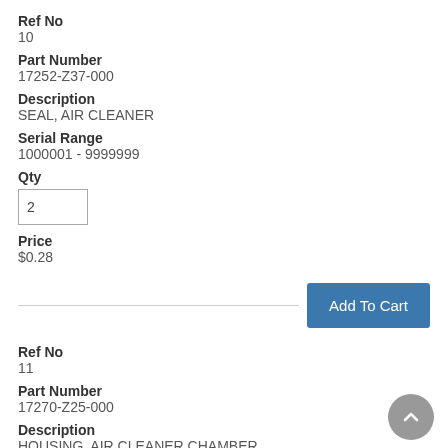Ref No
10
Part Number
17252-Z37-000
Description
SEAL, AIR CLEANER
Serial Range
1000001 - 9999999
Qty
2
Price
$0.28
Ref No
11
Part Number
17270-Z25-000
Description
HOUSING, AIR CLEANER CHAMBER